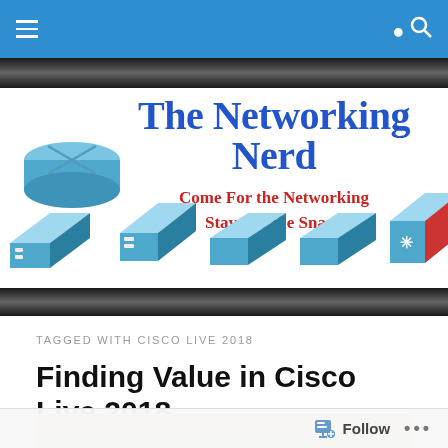The Networking Nerd — navigation bar
[Figure (logo): The Networking Nerd blog logo banner with blue title text, red subtitle 'Come For the Networking Stay For the Snark', and Cisco network device icons (router, switches)]
TAGGED WITH CISCO LIVE 2018
Finding Value in Cisco Live 2018
Follow